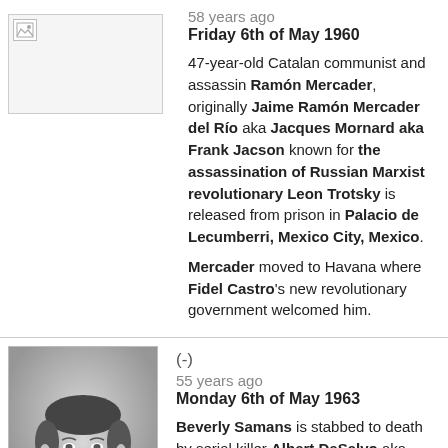58 years ago
Friday 6th of May 1960
47-year-old Catalan communist and assassin Ramón Mercader, originally Jaime Ramón Mercader del Río aka Jacques Mornard aka Frank Jacson known for the assassination of Russian Marxist revolutionary Leon Trotsky is released from prison in Palacio de Lecumberri, Mexico City, Mexico.
Mercader moved to Havana where Fidel Castro's new revolutionary government welcomed him.
[Figure (photo): Broken/missing image placeholder]
(-)
55 years ago
Monday 6th of May 1963
[Figure (photo): Black and white portrait photograph of a young woman with dark hair]
Beverly Samans is stabbed to death by serial killer Albert DeSalvo aka